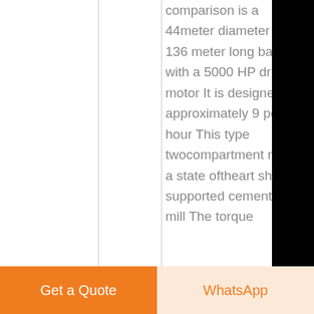comparison is a 44meter diameter by 136 meter long ball mill with a 5000 HP drive motor It is designed for approximately 9 per hour This type twocompartment mill is a state oftheart shell supported cement finish mill The torque
[Figure (screenshot): Website sidebar with Chat, E-mail, Top, and close (X) buttons on black background]
Get a Quote
WhatsApp